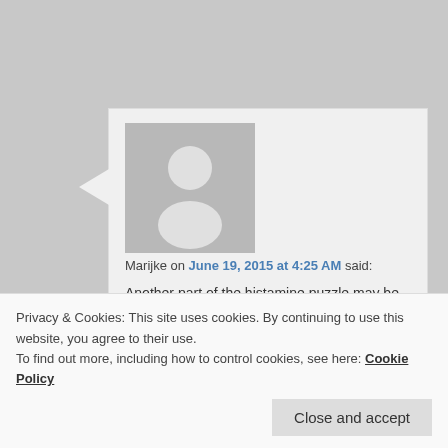[Figure (illustration): Gray avatar silhouette placeholder image for a user comment]
Marijke on June 19, 2015 at 4:25 AM said:
Another part of the histamine puzzle may be this:

How long will it take to heal histamine intolerance and how long will it take before fermented veggies can be introduced? Are there any specific supplements you suggest
Privacy & Cookies: This site uses cookies. By continuing to use this website, you agree to their use.
To find out more, including how to control cookies, see here: Cookie Policy
Close and accept
flora that produces excessive amounts of